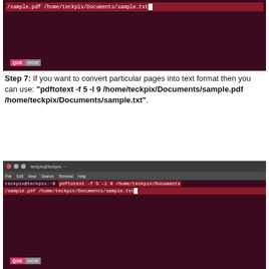[Figure (screenshot): Ubuntu terminal window showing command: /sample.pdf /home/teckpix/Documents/sample.txt with cursor, dark purple background, QUEHOW watermark]
Step 7: If you want to convert particular pages into text format then you can use: "pdftotext -f 5 -l 9 /home/teckpix/Documents/sample.pdf /home/teckpix/Documents/sample.txt".
[Figure (screenshot): Ubuntu terminal window titled teckpix@teckpix:~, menu bar showing File Edit View Search Terminal Help, command line: teckpix@teckpix:~$ pdftotext -f 5 -l 9 /home/teckpix/Documents/sample.pdf /home/teckpix/Documents/sample.txt with cursor, dark purple background, QUEHOW watermark]